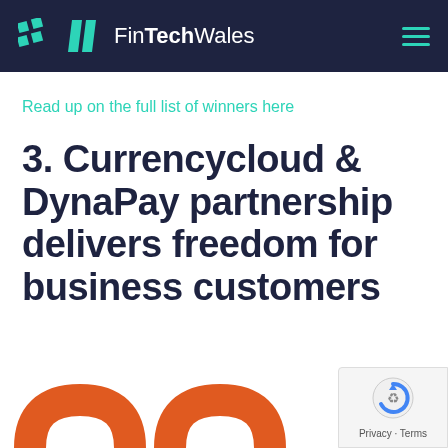FinTechWales
Read up on the full list of winners here
3. Currencycloud & DynaPay partnership delivers freedom for business customers
[Figure (logo): reCAPTCHA logo with Privacy and Terms text]
[Figure (illustration): Orange curved RSS-style shapes at bottom of page]